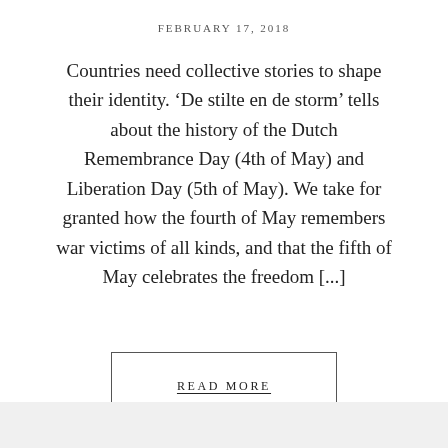FEBRUARY 17, 2018
Countries need collective stories to shape their identity. ‘De stilte en de storm’ tells about the history of the Dutch Remembrance Day (4th of May) and Liberation Day (5th of May). We take for granted how the fourth of May remembers war victims of all kinds, and that the fifth of May celebrates the freedom [...]
READ MORE